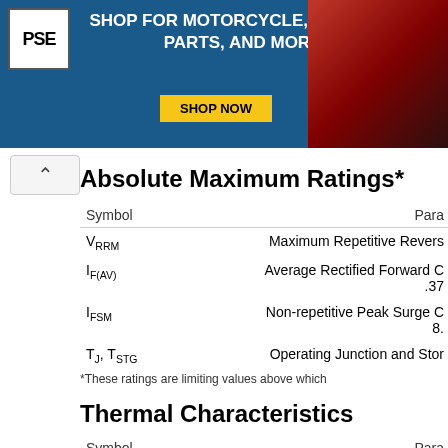[Figure (other): Advertisement banner for PSE motorcycle, ATV & UTV parts shop with Shop Now button]
Absolute Maximum Ratings*
| Symbol | Para |
| --- | --- |
| VRRM | Maximum Repetitive Revers |
| IF(AV) | Average Rectified Forward C .37 |
| IFSM | Non-repetitive Peak Surge C 8. |
| TJ, TSTG | Operating Junction and Stor |
*These ratings are limiting values above which
Thermal Characteristics
| Symbol | Para |
| --- | --- |
| PD | Power Dissipation |
| RθJA | Maximum Thermal Resistanc |